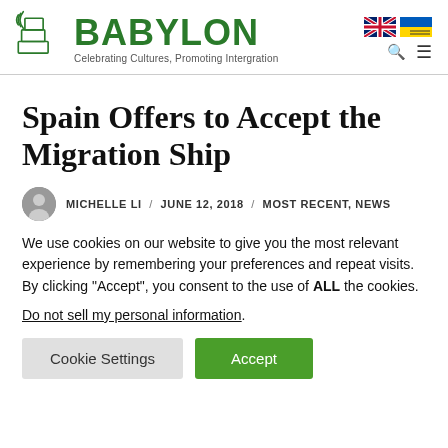BABYLON — Celebrating Cultures, Promoting Intergration
Spain Offers to Accept the Migration Ship
MICHELLE LI / JUNE 12, 2018 / MOST RECENT, NEWS
We use cookies on our website to give you the most relevant experience by remembering your preferences and repeat visits. By clicking "Accept", you consent to the use of ALL the cookies.
Do not sell my personal information.
Cookie Settings   Accept